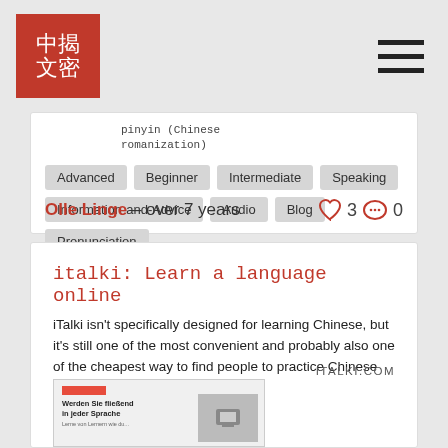中揭文密 [logo] — hamburger menu
pinyin (Chinese romanization)
Advanced
Beginner
Intermediate
Speaking
Information-and-Advice
Audio
Blog
Pronunciation
Olle Linge – over 7 years  ♡ 3  💬 0
italki: Learn a language online
iTalki isn't specifically designed for learning Chinese, but it's still one of the most convenient and probably also one of the cheapest way to find people to practice Chinese with. Sure, you can f... Read more.
ITALKI.COM
[Figure (screenshot): Screenshot of italki.com website showing 'Werden Sie fließend in jeder Sprache' heading with a photo of a laptop user]